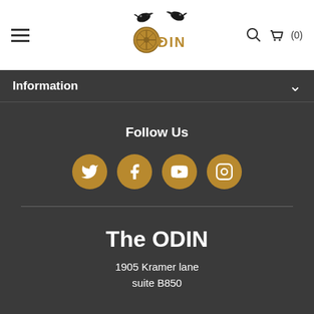ODIN store header with hamburger menu, logo, search icon, and cart (0)
Information
Follow Us
[Figure (infographic): Four golden circular social media icons: Twitter, Facebook, YouTube, Instagram]
The ODIN
1905 Kramer lane
suite B850